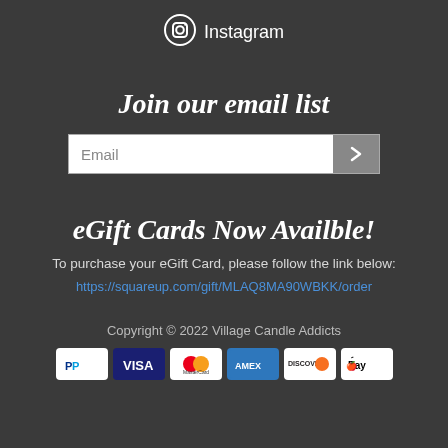[Figure (logo): Instagram icon with camera symbol and the word Instagram]
Join our email list
[Figure (other): Email signup form with text input field and submit arrow button]
eGift Cards Now Availble!
To purchase your eGift Card, please follow the link below:
https://squareup.com/gift/MLAQ8MA90WBKK/order
Copyright © 2022 Village Candle Addicts
[Figure (other): Payment logos: PayPal, Visa, MasterCard, American Express, Discover, Apple Pay]